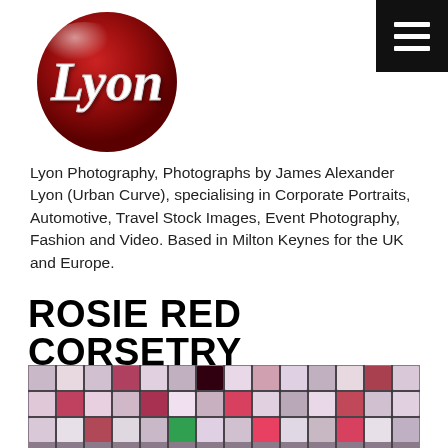[Figure (logo): Lyon Photography circular red logo with white script text 'Lyon']
[Figure (other): Black square hamburger menu icon with three white horizontal lines]
Lyon Photography, Photographs by James Alexander Lyon (Urban Curve), specialising in Corporate Portraits, Automotive, Travel Stock Images, Event Photography, Fashion and Video. Based in Milton Keynes for the UK and Europe.
ROSIE RED CORSETRY
[Figure (photo): Grid of many thumbnail fashion photographs showing models in dresses and corsets on a light background, displayed as a contact sheet]